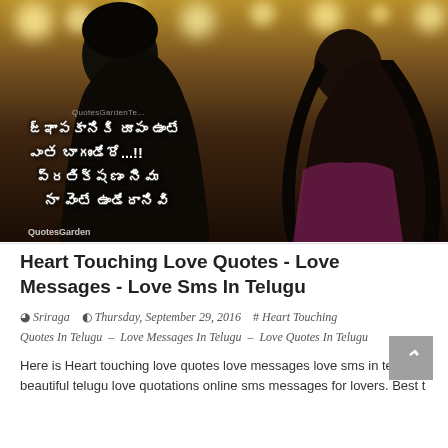[Figure (photo): A romantic photo of a man and woman looking at each other, with bokeh lights in the background. Telugu love quote text overlaid on the image. Watermark 'QuotesGardenTelugu' visible.]
Heart Touching Love Quotes - Love Messages - Love Sms In Telugu
Sriraga   Thursday, September 29, 2016   # Heart Touching Quotes In Telugu  -  Love Messages In Telugu  -  Love Quotes In Telugu
Here is Heart touching love quotes love messages love sms in telugu, beautiful telugu love quotations online sms messages for lovers. Best t...